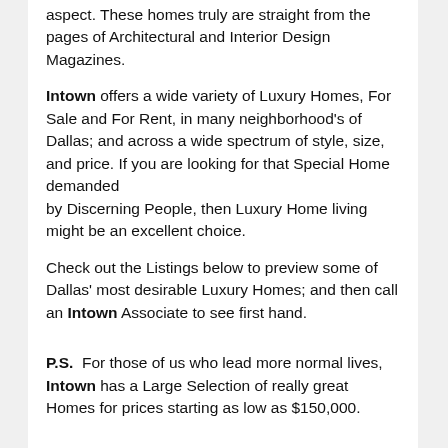aspect. These homes truly are straight from the pages of Architectural and Interior Design Magazines.
Intown offers a wide variety of Luxury Homes, For Sale and For Rent, in many neighborhood's of Dallas; and across a wide spectrum of style, size, and price. If you are looking for that Special Home demanded by Discerning People, then Luxury Home living might be an excellent choice.
Check out the Listings below to preview some of Dallas' most desirable Luxury Homes; and then call an Intown Associate to see first hand.
P.S.  For those of us who lead more normal lives, Intown has a Large Selection of really great Homes for prices starting as low as $150,000.